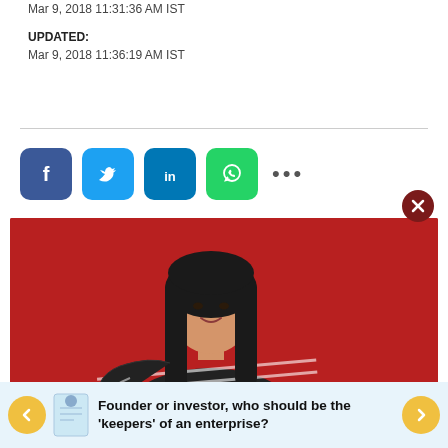Mar 9, 2018 11:31:36 AM IST
UPDATED:
Mar 9, 2018 11:36:19 AM IST
[Figure (photo): Social media share buttons: Facebook, Twitter, LinkedIn, WhatsApp, and more (...)]
[Figure (photo): Portrait photo of a young woman with long dark hair, wearing a black and white striped jacket, smiling, posed against a red background.]
Founder or investor, who should be the 'keepers' of an enterprise?